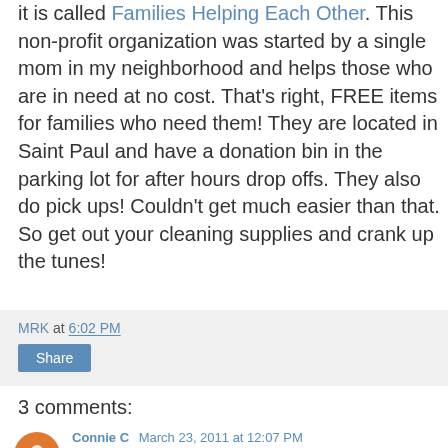it is called Families Helping Each Other. This non-profit organization was started by a single mom in my neighborhood and helps those who are in need at no cost. That's right, FREE items for families who need them! They are located in Saint Paul and have a donation bin in the parking lot for after hours drop offs. They also do pick ups! Couldn't get much easier than that. So get out your cleaning supplies and crank up the tunes!
MRK at 6:02 PM
Share
3 comments:
Connie C March 23, 2011 at 12:07 PM
I am now following you on GFC please check out my blog when u get the chance at